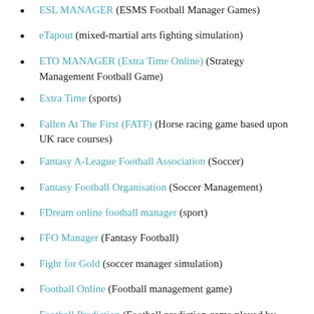ESL MANAGER (ESMS Football Manager Games)
eTapout (mixed-martial arts fighting simulation)
ETO MANAGER (Extra Time Online) (Strategy Management Football Game)
Extra Time (sports)
Fallen At The First (FATF) (Horse racing game based upon UK race courses)
Fantasy A-League Football Association (Soccer)
Fantasy Football Organisation (Soccer Management)
FDream online football manager (sport)
FFO Manager (Fantasy Football)
Fight for Gold (soccer manager simulation)
Football Online (Football management game)
Football Prediction (Football prediction game played by email)
Football-o-Rama (soccer manager)